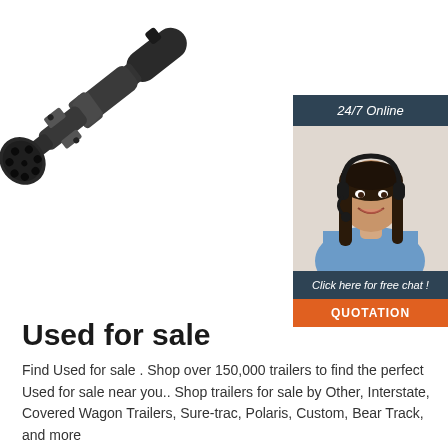[Figure (photo): A black multi-pin electrical connector/plug tool photographed diagonally on a white background, resembling a trailer electrical connector with 7 pins visible on the end.]
[Figure (photo): Advertisement sidebar: dark blue/grey background with text '24/7 Online' at top, photo of smiling woman with headset (customer service representative), text 'Click here for free chat !' and an orange button labeled 'QUOTATION'.]
Used for sale
Find Used for sale . Shop over 150,000 trailers to find the perfect Used for sale near you.. Shop trailers for sale by Other, Interstate, Covered Wagon Trailers, Sure-trac, Polaris, Custom, Bear Track, and more